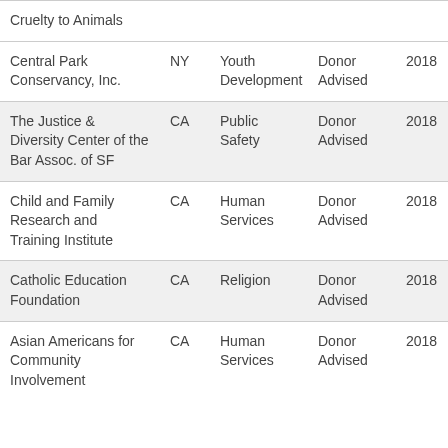| Cruelty to Animals |  |  |  |  |
| Central Park Conservancy, Inc. | NY | Youth Development | Donor Advised | 2018 |
| The Justice & Diversity Center of the Bar Assoc. of SF | CA | Public Safety | Donor Advised | 2018 |
| Child and Family Research and Training Institute | CA | Human Services | Donor Advised | 2018 |
| Catholic Education Foundation | CA | Religion | Donor Advised | 2018 |
| Asian Americans for Community Involvement | CA | Human Services | Donor Advised | 2018 |